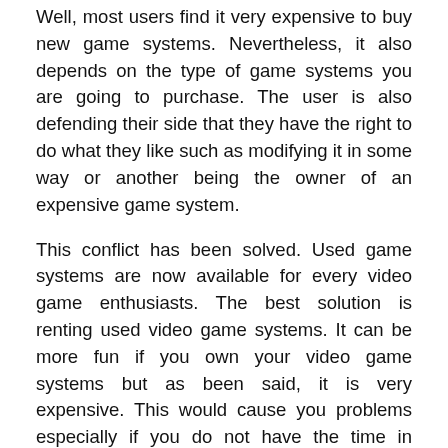Well, most users find it very expensive to buy new game systems. Nevertheless, it also depends on the type of game systems you are going to purchase. The user is also defending their side that they have the right to do what they like such as modifying it in some way or another being the owner of an expensive game system.
This conflict has been solved. Used game systems are now available for every video game enthusiasts. The best solution is renting used video game systems. It can be more fun if you own your video game systems but as been said, it is very expensive. This would cause you problems especially if you do not have the time in playing the games. Take note, some games have also a definite time allocation for playing. In this case, renting video game system is more advisable to minimize your game entertainment's costs. This would also prevent you from modifying the games since you have just rented it.